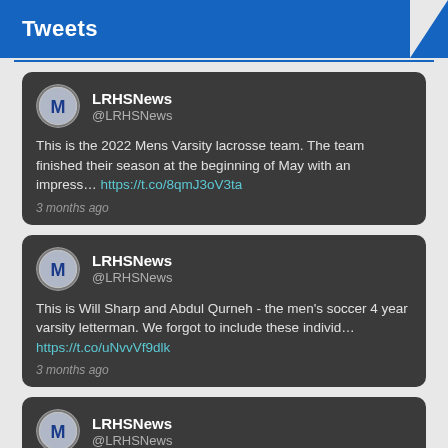Tweets
[Figure (screenshot): Tweet card from @LRHSNews with avatar showing letter M on a circular badge, username LRHSNews, handle @LRHSNews, text: 'This is the 2022 Mens Varsity lacrosse team. The team finished their season at the beginning of May with an impress… https://t.co/8qmJ3oV3ta', timestamp: 3 months ago]
[Figure (screenshot): Tweet card from @LRHSNews with avatar showing letter M on a circular badge, username LRHSNews, handle @LRHSNews, text: 'This is Will Sharp and Abdul Qurneh - the men’s soccer 4 year varsity letterman. We forgot to include these individ… https://t.co/uNvvVf9dlk', timestamp: 3 months ago]
[Figure (screenshot): Partial tweet card from @LRHSNews with avatar showing letter M on a circular badge, username LRHSNews, handle @LRHSNews, with blue scroll-to-top button in bottom right corner]